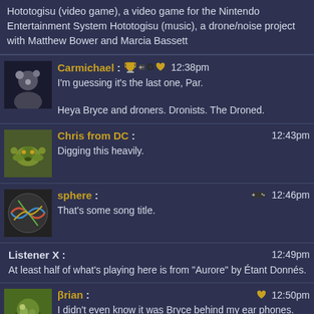Hototogisu (video game), a video game for the Nintendo Entertainment System
Hototogisu (music), a drone/noise project with Matthew Bower and Marcia Bassett
Carmichael: 12:38pm
I'm guessing it's the last one, Par.

Heya Bryce and droners. Dronists. The Droned.
Chris from DC: 12:43pm
Digging this heavily.
sphere: 12:46pm
That's some song title.
Listener X: 12:49pm
At least half of what's playing here is from "Aurore" by Étant Donnés.
βrian: 12:50pm
I didn't even know it was Bryce behind my ear phones. Enjoying it, for sure.
Passaic River Blues: 12:51pm